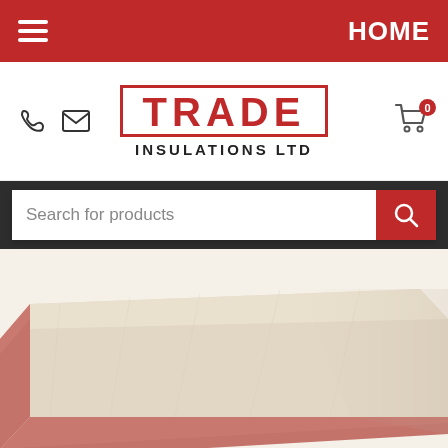HOME
[Figure (logo): Trade Insulations Ltd logo with red border box around TRADE text, and INSULATIONS LTD below]
Search for products
[Figure (photo): Close-up photo of an insulation board — beige/cream flat surface on top with a pink/terracotta colored edge visible on the bottom and right side, shot from a perspective angle]